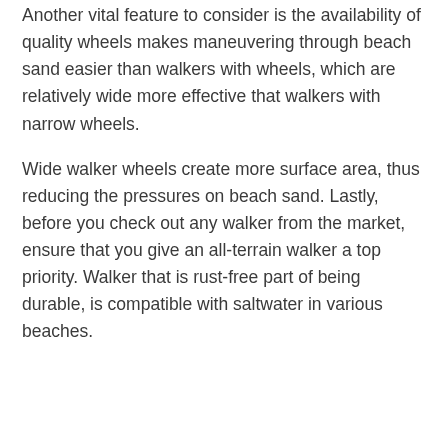Another vital feature to consider is the availability of quality wheels makes maneuvering through beach sand easier than walkers with wheels, which are relatively wide more effective that walkers with narrow wheels.
Wide walker wheels create more surface area, thus reducing the pressures on beach sand. Lastly, before you check out any walker from the market, ensure that you give an all-terrain walker a top priority. Walker that is rust-free part of being durable, is compatible with saltwater in various beaches.